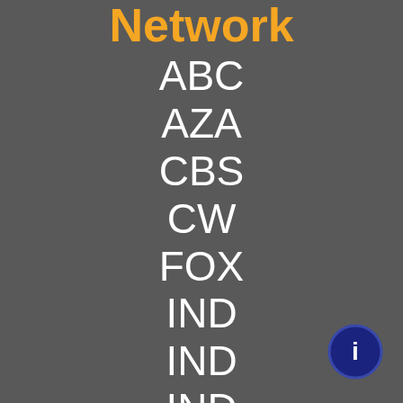Network
ABC
AZA
CBS
CW
FOX
IND
IND
IND
MFX
MNT
NBC
PBS
TMO
UMA